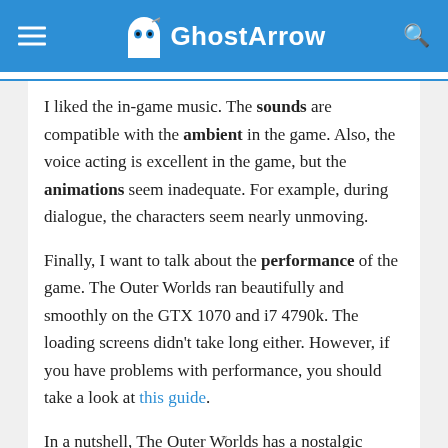GhostArrow
I liked the in-game music. The sounds are compatible with the ambient in the game. Also, the voice acting is excellent in the game, but the animations seem inadequate. For example, during dialogue, the characters seem nearly unmoving.
Finally, I want to talk about the performance of the game. The Outer Worlds ran beautifully and smoothly on the GTX 1070 and i7 4790k. The loading screens didn't take long either. However, if you have problems with performance, you should take a look at this guide.
In a nutshell, The Outer Worlds has a nostalgic enjoyment. The game similar in some respects to classic Fallout, but it is more colorful. If you like role-playing